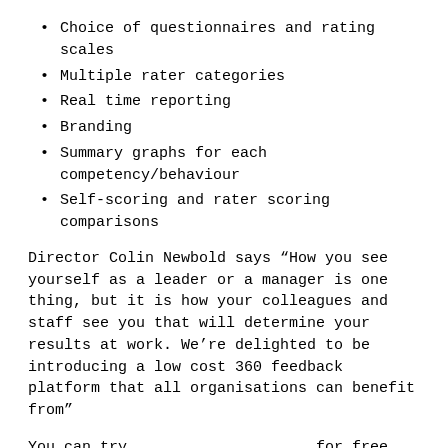Choice of questionnaires and rating scales
Multiple rater categories
Real time reporting
Branding
Summary graphs for each competency/behaviour
Self-scoring and rater scoring comparisons
Director Colin Newbold says “How you see yourself as a leader or a manager is one thing, but it is how your colleagues and staff see you that will determine your results at work. We’re delighted to be introducing a low cost 360 feedback platform that all organisations can benefit from”
You can try                          for free today at                          , or for more details contact           or call                      .
Want us to manage surveys for you? Use the contact details above to ask about our managed pay-as-you-go services.
Need help with questionnaire design, briefings and feedback